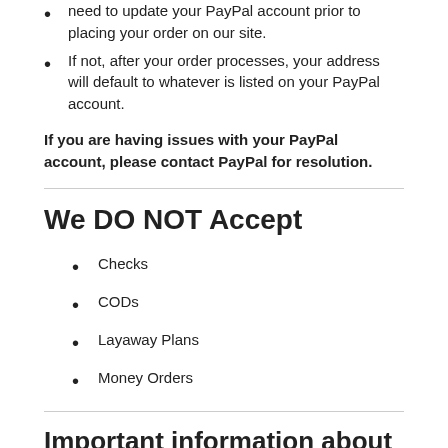need to update your PayPal account prior to placing your order on our site.
If not, after your order processes, your address will default to whatever is listed on your PayPal account.
If you are having issues with your PayPal account, please contact PayPal for resolution.
We DO NOT Accept
Checks
CODs
Layaway Plans
Money Orders
Important information about Payment
To better your experience and ensure you feel confident in